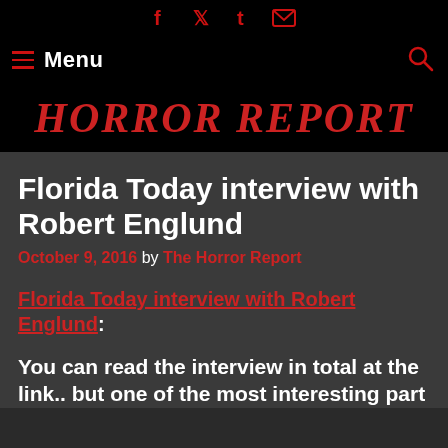Social icons: Facebook, Twitter, Tumblr, Email
Menu | HORROR REPORT | Search
HORROR REPORT
Florida Today interview with Robert Englund
October 9, 2016 by The Horror Report
Florida Today interview with Robert Englund:
You can read the interview in total at the link.. but one of the most interesting part